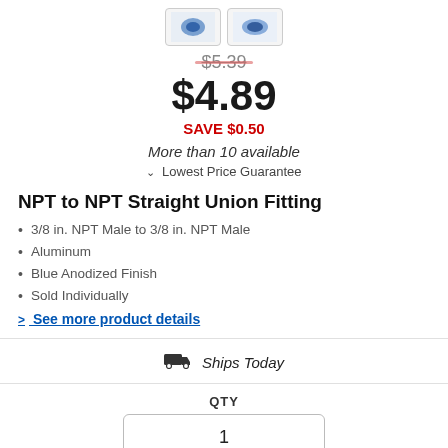[Figure (photo): Two product thumbnail images of a blue anodized NPT fitting, shown side by side in small boxes at the top.]
$5.39
$4.89
SAVE $0.50
More than 10 available
Lowest Price Guarantee
NPT to NPT Straight Union Fitting
3/8 in. NPT Male to 3/8 in. NPT Male
Aluminum
Blue Anodized Finish
Sold Individually
> See more product details
Ships Today
QTY
1